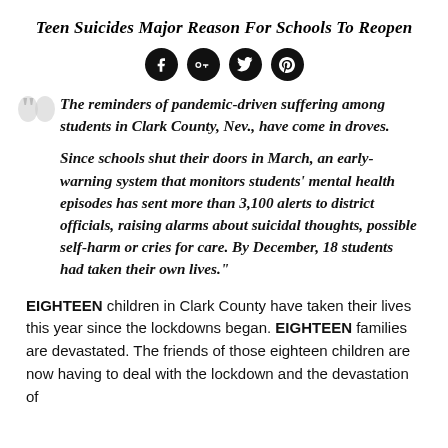Teen Suicides Major Reason For Schools To Reopen
[Figure (infographic): Social media share icons: Facebook, Google+, Twitter, Pinterest — black circular buttons]
The reminders of pandemic-driven suffering among students in Clark County, Nev., have come in droves. Since schools shut their doors in March, an early-warning system that monitors students’ mental health episodes has sent more than 3,100 alerts to district officials, raising alarms about suicidal thoughts, possible self-harm or cries for care. By December, 18 students had taken their own lives.”
EIGHTEEN children in Clark County have taken their lives this year since the lockdowns began. EIGHTEEN families are devastated. The friends of those eighteen children are now having to deal with the lockdown and the devastation of